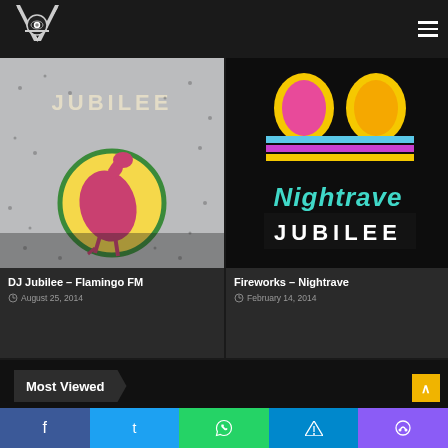[Figure (photo): Photo of a sequined jacket with 'JUBILEE' text and a flamingo design on the back]
DJ Jubilee – Flamingo FM
August 25, 2014
[Figure (photo): Nightrave event artwork with colorful retro design showing 'Nightrave' logo and 'JUBILEE' text]
Fireworks – Nightrave
February 14, 2014
Most Viewed
October 16, 2012